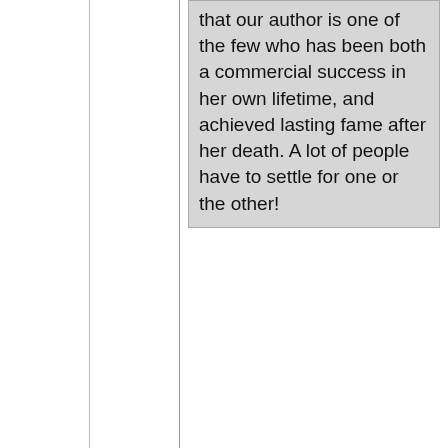that our author is one of the few who has been both a commercial success in her own lifetime, and achieved lasting fame after her death. A lot of people have to settle for one or the other!
Guess Enid Blyton is another, in spite of bans/criticism at various times. Shops still have shelves of them, with jazzy covers